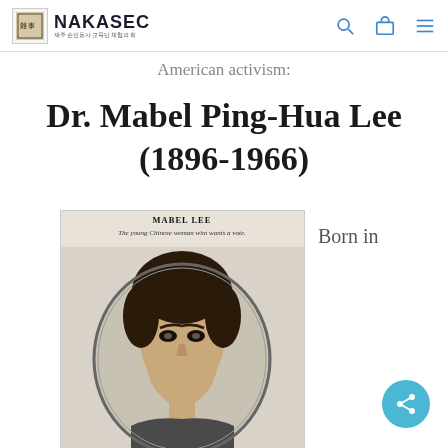NAKASEC — navigation bar with logo, search, bag, and menu icons
American activism:
Dr. Mabel Ping-Hua Lee (1896-1966)
[Figure (photo): Vintage newspaper portrait illustration of Mabel Lee — a young Chinese woman — captioned 'MABEL LEE The young Chinese woman who wants a vote.']
Born in